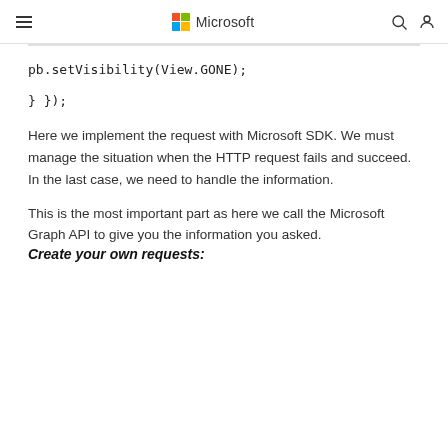Microsoft
pb.setVisibility(View.GONE);
} });
Here we implement the request with Microsoft SDK. We must manage the situation when the HTTP request fails and succeed. In the last case, we need to handle the information.
This is the most important part as here we call the Microsoft Graph API to give you the information you asked.
Create your own requests: